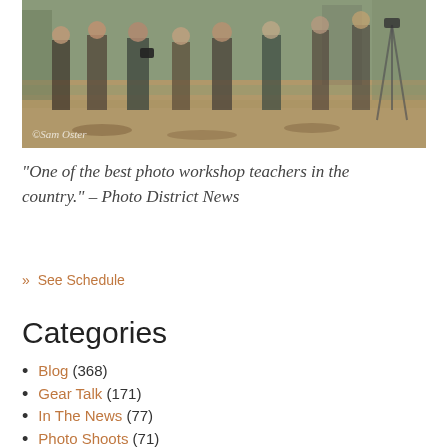[Figure (photo): Group of people standing outdoors in a field or park setting, appears to be a photography workshop. Watermark reads '©Sam Oster'.]
“One of the best photo workshop teachers in the country.” – Photo District News
» See Schedule
Categories
Blog (368)
Gear Talk (171)
In The News (77)
Photo Shoots (71)